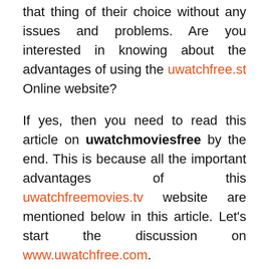that thing of their choice without any issues and problems. Are you interested in knowing about the advantages of using the uwatchfree.st Online website?
If yes, then you need to read this article on uwatchmoviesfree by the end. This is because all the important advantages of this uwatchfreemovies.tv website are mentioned below in this article. Let's start the discussion on www.uwatchfree.com.
Money-Saving: First and most important reason why people should use this uwatchfree.com website is here. Yes, uwatchfree.net is the website that helps you in saving money. As everyone knows that there are numerous sites but all of the websites provide subscriptions for watching some